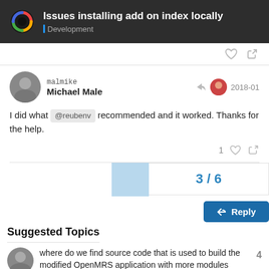Issues installing add on index locally | Development
malmike Michael Male 2018-01
I did what @reubenv recommended and it worked. Thanks for the help.
1 [like] [link]
3 / 6
Reply
Suggested Topics
where do we find source code that is used to build the modified OpenMRS application with more modules 4